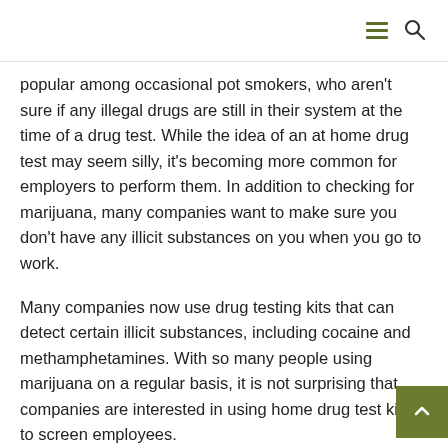[hamburger menu] [search icon]
popular among occasional pot smokers, who aren't sure if any illegal drugs are still in their system at the time of a drug test. While the idea of an at home drug test may seem silly, it's becoming more common for employers to perform them. In addition to checking for marijuana, many companies want to make sure you don't have any illicit substances on you when you go to work.
Many companies now use drug testing kits that can detect certain illicit substances, including cocaine and methamphetamines. With so many people using marijuana on a regular basis, it is not surprising that companies are interested in using home drug test kits to screen employees.
Cocaine and crack are probably the two most popular illicit drugs at work today. Everyone